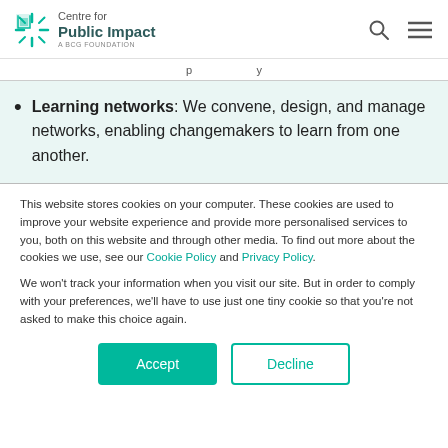Centre for Public Impact - A BCG Foundation
[truncated text above]
Learning networks: We convene, design, and manage networks, enabling changemakers to learn from one another.
This website stores cookies on your computer. These cookies are used to improve your website experience and provide more personalised services to you, both on this website and through other media. To find out more about the cookies we use, see our Cookie Policy and Privacy Policy.

We won't track your information when you visit our site. But in order to comply with your preferences, we'll have to use just one tiny cookie so that you're not asked to make this choice again.